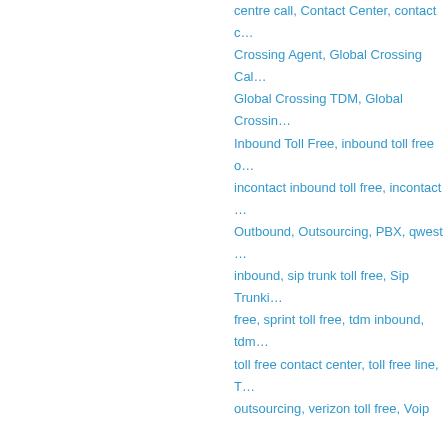centre call, Contact Center, contact c… Crossing Agent, Global Crossing Cal… Global Crossing TDM, Global Crossin… Inbound Toll Free, inbound toll free o… incontact inbound toll free, incontact … Outbound, Outsourcing, PBX, qwest … inbound, sip trunk toll free, Sip Trunki… free, sprint toll free, tdm inbound, tdm… toll free contact center, toll free line, T… outsourcing, verizon toll free, Voip
Inbound Toll Free
Written by Kenny Wilder on
[Figure (illustration): Banner image with globe/earth held by hands and text 'Toll Free O' on orange/gold gradient background]
SIP Trunking Inbound
$0.0085 SIP Trunking Inbound toll Fre… ECTtelecom is a worldwide wholesal…